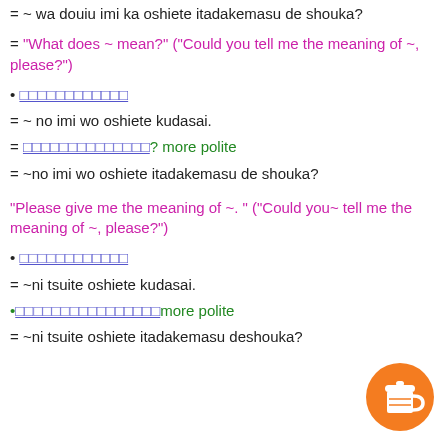= ~ wa douiu imi ka oshiete itadakemasu de shouka?
= "What does ~ mean?" ("Could you tell me the meaning of ~, please?")
• [Japanese text]
= ~ no imi wo oshiete kudasai.
= [Japanese text]? more polite
= ~no imi wo oshiete itadakemasu de shouka?
"Please give me the meaning of ~. " ("Could you~ tell me the meaning of ~, please?")
• [Japanese text]
= ~ni tsuite oshiete kudasai.
•[Japanese text]more polite
= ~ni tsuite oshiete itadakemasu deshouka?
[Figure (illustration): Orange circular coffee cup button icon in bottom right corner]